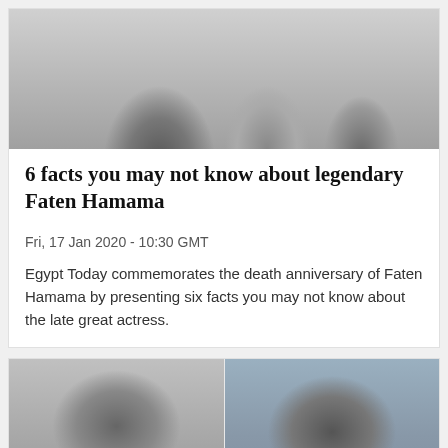[Figure (photo): Black and white photo of a woman in a polka dot dress on stairs with other figures]
6 facts you may not know about legendary Faten Hamama
Fri, 17 Jan 2020 - 10:30 GMT
Egypt Today commemorates the death anniversary of Faten Hamama by presenting six facts you may not know about the late great actress.
[Figure (photo): Side-by-side photos: left is a black and white photo of a man in a tuxedo smiling, right is a color photo of a younger man in a suit smiling]